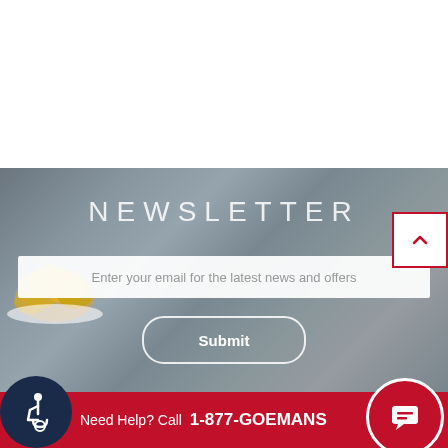[Figure (screenshot): White blank area at top of page]
NEWSLETTER
Enter your email for the latest news and offers
Submit
Need Help? Call  1-877-GOEMANS
Privacy  Terms